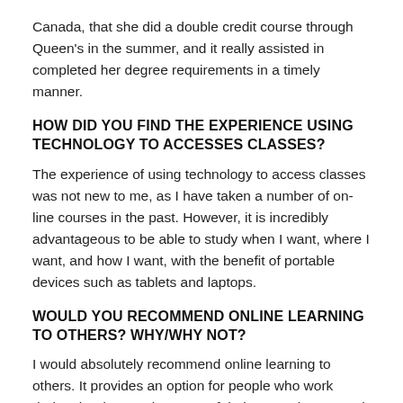Canada, that she did a double credit course through Queen's in the summer, and it really assisted in completed her degree requirements in a timely manner.
HOW DID YOU FIND THE EXPERIENCE USING TECHNOLOGY TO ACCESSES CLASSES?
The experience of using technology to access classes was not new to me, as I have taken a number of on-line courses in the past. However, it is incredibly advantageous to be able to study when I want, where I want, and how I want, with the benefit of portable devices such as tablets and laptops.
WOULD YOU RECOMMEND ONLINE LEARNING TO OTHERS? WHY/WHY NOT?
I would absolutely recommend online learning to others. It provides an option for people who work during the day to take some of their spare time to work on career advancement and formal education, without sacrificing current employment during the work day. Online learning is offered in a variety of departments, enabling students with different learning styles